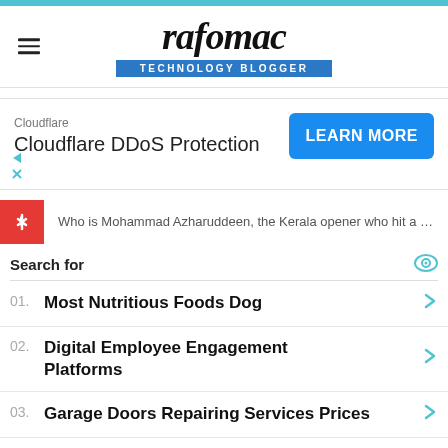rafomac TECHNOLOGY BLOGGER
[Figure (infographic): Cloudflare DDoS Protection advertisement with LEARN MORE button]
Who is Mohammad Azharuddeen, the Kerala opener who hit a 37-ball century
Search for
01. Most Nutritious Foods Dog
02. Digital Employee Engagement Platforms
03. Garage Doors Repairing Services Prices